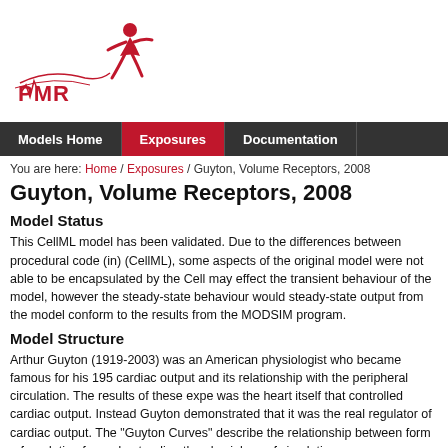[Figure (logo): PMR/CellML logo with stylized red figure and waveform text]
Models Home | Exposures | Documentation
You are here: Home / Exposures / Guyton, Volume Receptors, 2008
Guyton, Volume Receptors, 2008
Model Status
This CellML model has been validated. Due to the differences between procedural code (in) (CellML), some aspects of the original model were not able to be encapsulated by the Cell may effect the transient behaviour of the model, however the steady-state behaviour would steady-state output from the model conform to the results from the MODSIM program.
Model Structure
Arthur Guyton (1919-2003) was an American physiologist who became famous for his 195 cardiac output and its relationship with the peripheral circulation. The results of these expe was the heart itself that controlled cardiac output. Instead Guyton demonstrated that it was the real regulator of cardiac output. The "Guyton Curves" describe the relationship between form a foundation for understanding the physiology of circulation.
The Guyton model of fluid, electrolyte, and circulatory regulation is an extensive mathemat of simulating a variety of experimental conditions, and contains a number of linked subsys control.